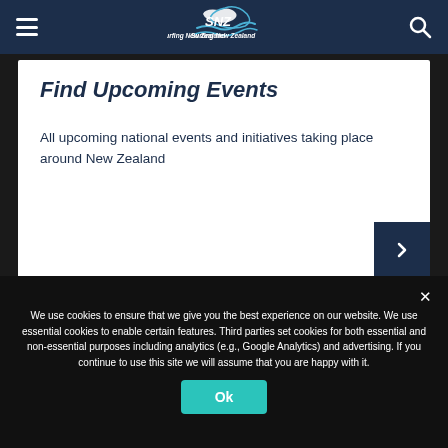Surfing New Zealand
Find Upcoming Events
All upcoming national events and initiatives taking place around New Zealand
We use cookies to ensure that we give you the best experience on our website. We use essential cookies to enable certain features. Third parties set cookies for both essential and non-essential purposes including analytics (e.g., Google Analytics) and advertising. If you continue to use this site we will assume that you are happy with it.